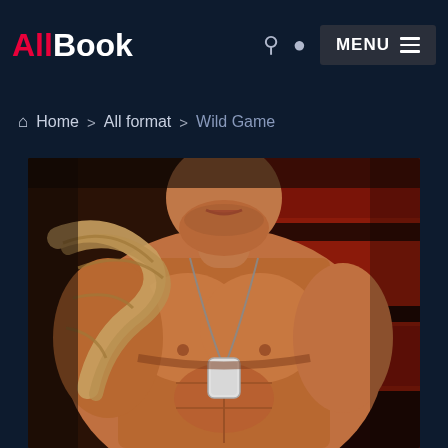AllBook — MENU
Home > All format > Wild Game
[Figure (photo): Book cover photo showing muscular shirtless man with dog tag necklace and rope over shoulder, against a rustic wooden background with red and dark tones — cover for 'Wild Game']